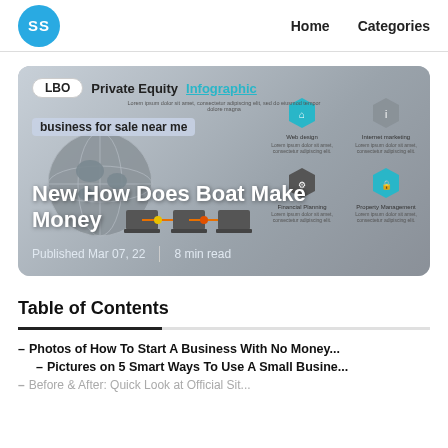SS | Home | Categories
[Figure (infographic): Blog post card with infographic background featuring a globe, hexagon icons (Web design, Internet marketing, Financial Planning, Property Management), laptops connected by lines. Tags: LBO, Private Equity, Infographic. Title: New How Does Boat Make Money. Published Mar 07, 22 | 8 min read.]
Table of Contents
– Photos of How To Start A Business With No Money...
– Pictures on 5 Smart Ways To Use A Small Busine...
– Before & After: Quick Look at Official Sit...